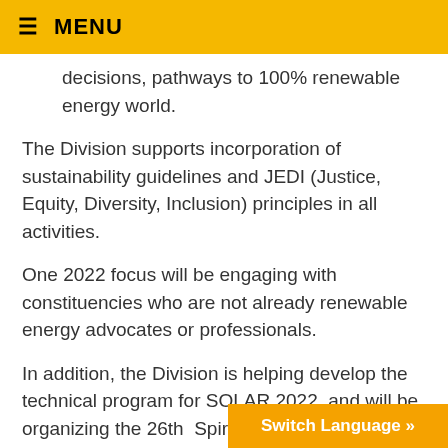≡ MENU
decisions, pathways to 100% renewable energy world.
The Division supports incorporation of sustainability guidelines and JEDI (Justice, Equity, Diversity, Inclusion) principles in all activities.
One 2022 focus will be engaging with constituencies who are not already renewable energy advocates or professionals.
In addition, the Division is helping develop the technical program for SOLAR 2022, and will be organizing the 26th  Spirit and Sustainability Forum for the Conference.
Contact us today: PauletteCo...
Switch Language »